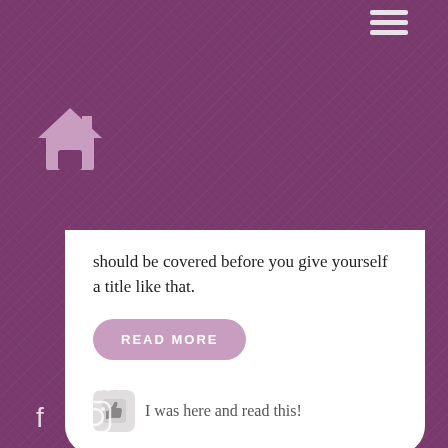[Figure (other): Hamburger menu icon (three horizontal white lines) in top right corner]
[Figure (other): Home/house icon in purple/mauve color on purple background, top left area]
should be covered before you give yourself a title like that.
READ MORE
I was here and read this!
© 2022 POETIC PINUP. ALL RIGHTS RESERVED.
[Figure (other): Facebook and Instagram social media icons at bottom left]